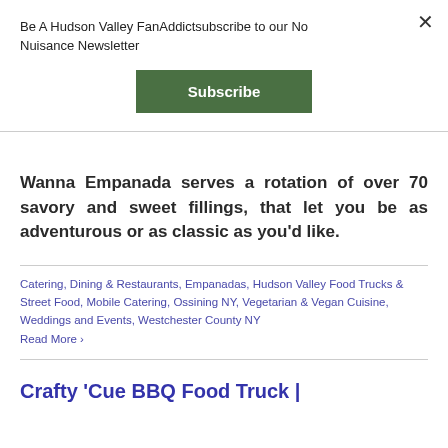Be A Hudson Valley FanAddictsubscribe to our No Nuisance Newsletter
Subscribe
Wanna Empanada serves a rotation of over 70 savory and sweet fillings, that let you be as adventurous or as classic as you'd like.
Catering, Dining & Restaurants, Empanadas, Hudson Valley Food Trucks & Street Food, Mobile Catering, Ossining NY, Vegetarian & Vegan Cuisine, Weddings and Events, Westchester County NY
Read More ›
Crafty 'Cue BBQ Food Truck |